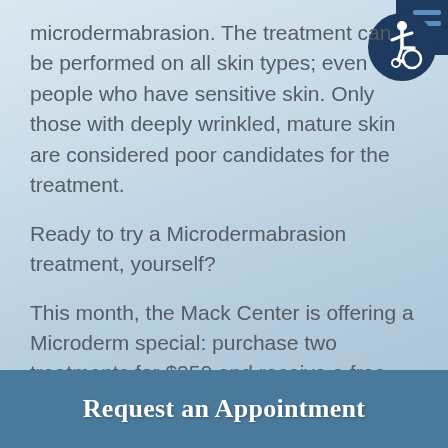microdermabrasion. The treatment can be performed on all skin types; even people who have sensitive skin. Only those with deeply wrinkled, mature skin are considered poor candidates for the treatment.
Ready to try a Microdermabrasion treatment, yourself?
This month, the Mack Center is offering a Microderm special: purchase two treatments for $250 and receive a free Colorescience Skin Care Regimen (an added value of $193-$293). Contact us today to take
[Figure (logo): Accessibility icon (wheelchair user symbol) in dark blue circle with horizontal lines, top-right corner]
Request an Appointment